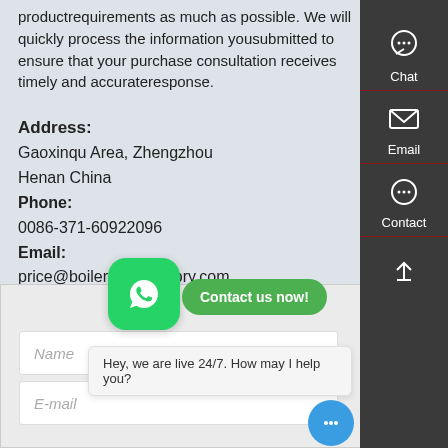productrequirements as much as possible. We will quickly process the information yousubmitted to ensure that your purchase consultation receives timely and accurateresponse.
Address:
Gaoxinqu Area, Zhengzhou
Henan China
Phone:
0086-371-60922096
Email:
price@boilermanufactory.com
[Figure (screenshot): Right sidebar with dark background showing Chat, Email, and Contact icons with labels, and a scroll-to-top icon at bottom]
[Figure (infographic): WhatsApp green icon bubble and 'Contact us now!' green button overlay on form area]
[Figure (screenshot): Live chat tooltip: 'Hey, we are live 24/7. How may I help you?' and blue chat bubble with ellipsis]
Name
E-mail